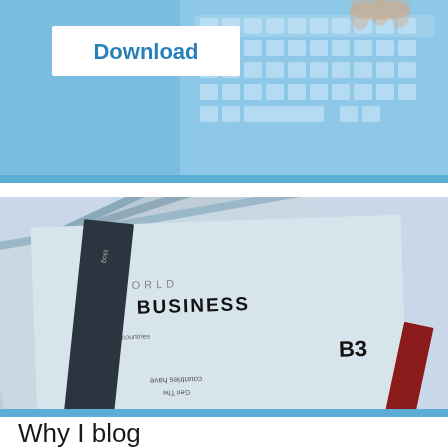[Figure (photo): Photo of a person's hands typing on a laptop keyboard with a blue-tinted overlay, with a white box containing the word 'Download' in bold blue text overlaid on the left side.]
[Figure (photo): Close-up photo of stacked newspapers with visible headlines including 'WORLD BUSINESS' and 'B3', shown with a blue-tinted color treatment.]
Why I blog